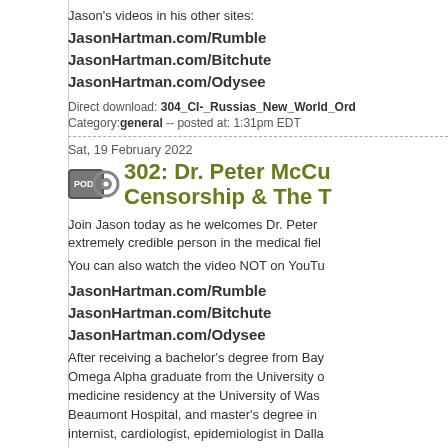Jason's videos in his other sites:
JasonHartman.com/Rumble
JasonHartman.com/Bitchute
JasonHartman.com/Odysee
Direct download: 304_CI-_Russias_New_World_Or...
Category: general -- posted at: 1:31pm EDT
Sat, 19 February 2022
302: Dr. Peter McCu... Censorship & The T...
Join Jason today as he welcomes Dr. Peter ... extremely credible person in the medical fiel...
You can also watch the video NOT on YouTu...
JasonHartman.com/Rumble
JasonHartman.com/Bitchute
JasonHartman.com/Odysee
After receiving a bachelor's degree from Bay... Omega Alpha graduate from the University o... medicine residency at the University of Was... Beaumont Hospital, and master's degree in... internist, cardiologist, epidemiologist in Dalla...
Listen in to hear another side of this whole p... liati...